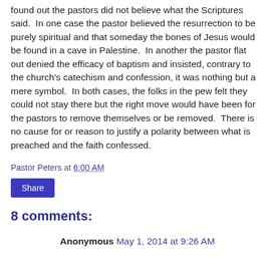found out the pastors did not believe what the Scriptures said.  In one case the pastor believed the resurrection to be purely spiritual and that someday the bones of Jesus would be found in a cave in Palestine.  In another the pastor flat out denied the efficacy of baptism and insisted, contrary to the church's catechism and confession, it was nothing but a mere symbol.  In both cases, the folks in the pew felt they could not stay there but the right move would have been for the pastors to remove themselves or be removed.  There is no cause for or reason to justify a polarity between what is preached and the faith confessed.
Pastor Peters at 6:00 AM
Share
8 comments:
Anonymous May 1, 2014 at 9:26 AM